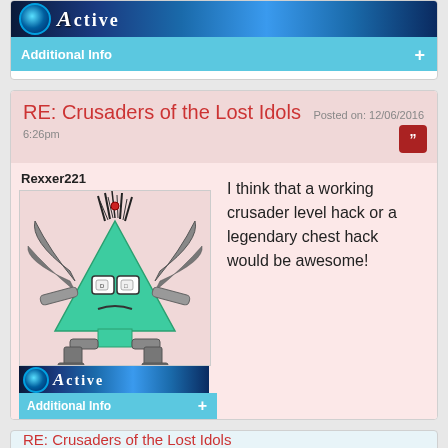[Figure (screenshot): Top portion of a forum post card showing Active status bar and Additional Info bar (cropped at top of page)]
RE: Crusaders of the Lost Idols Posted on: 12/06/2016 6:26pm
Rexxer221
[Figure (illustration): Forum avatar: cartoon green triangular alien creature with bat wings, robot legs, and spiky hair on pink background]
[Figure (screenshot): Active status banner with blue glowing orb icon and Active text]
Additional Info +
I think that a working crusader level hack or a legendary chest hack would be awesome!
RE: Crusaders of the Lost Idols